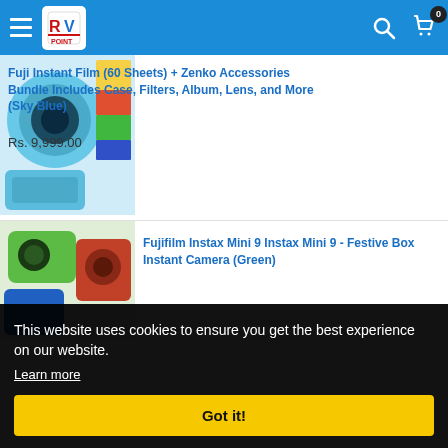Navigation bar with hamburger menu, logo, search icon, and cart icon (0 items)
Fuji Instant Film (60 Sheets) + Zenko Accessories Bundle Includes Case, Filters, Album, Lens, and More (Sky Blue)
Rs. 9,999.00
Fujifilm Instax Mini 9 Instax Mini 9 - Festive Box Instant Camera (Green)
This website uses cookies to ensure you get the best experience on our website.
Learn more
Got it!